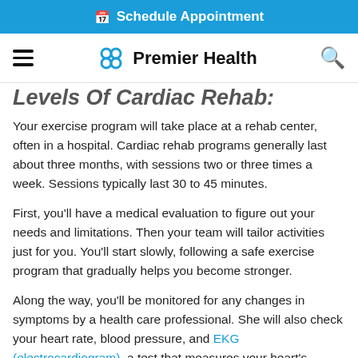Schedule Appointment
Premier Health
Levels Of Cardiac Rehab:
Your exercise program will take place at a rehab center, often in a hospital. Cardiac rehab programs generally last about three months, with sessions two or three times a week. Sessions typically last 30 to 45 minutes.
First, you'll have a medical evaluation to figure out your needs and limitations. Then your team will tailor activities just for you. You'll start slowly, following a safe exercise program that gradually helps you become stronger.
Along the way, you'll be monitored for any changes in symptoms by a health care professional. She will also check your heart rate, blood pressure, and EKG (electrocardiogram), a test that measures your heart's electrical activity and can signal if there's a problem.